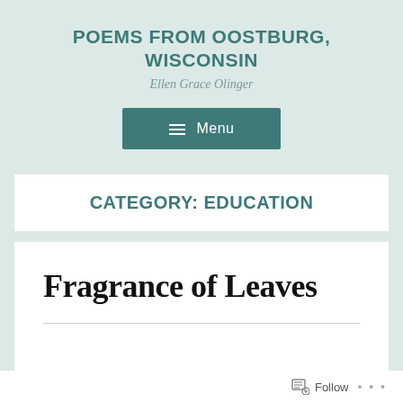POEMS FROM OOSTBURG, WISCONSIN
Ellen Grace Olinger
[Figure (other): Teal menu button with hamburger icon and text 'Menu']
CATEGORY: EDUCATION
Fragrance of Leaves
Follow ...